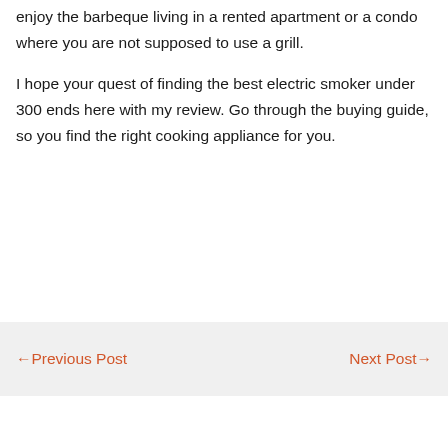enjoy the barbeque living in a rented apartment or a condo where you are not supposed to use a grill.
I hope your quest of finding the best electric smoker under 300 ends here with my review. Go through the buying guide, so you find the right cooking appliance for you.
← Previous Post    Next Post →